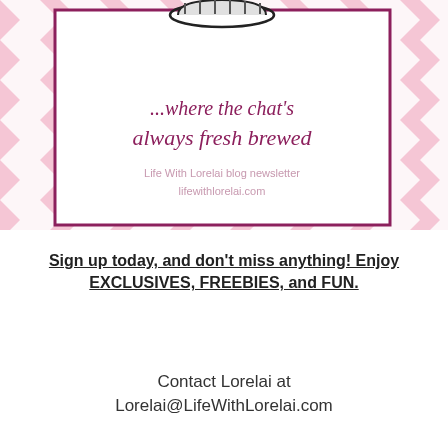[Figure (illustration): Blog newsletter banner with chevron background in light pink, white inner box with dark pink/magenta border, partial coffee cup logo at top, italic script text '...where the chat's always fresh brewed', and subtitle 'Life With Lorelai blog newsletter lifewithlorelai.com']
Sign up today, and don't miss anything! Enjoy EXCLUSIVES, FREEBIES, and FUN.
Contact Lorelai at Lorelai@LifeWithLorelai.com